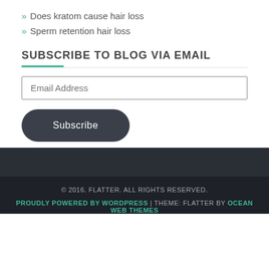» Does kratom cause hair loss
» Sperm retention hair loss
SUBSCRIBE TO BLOG VIA EMAIL
Email Address
Subscribe
© 2016. FLATTER. ALL RIGHTS RESERVED.
PROUDLY POWERED BY WORDPRESS | THEME: FLATTER BY OCEAN WEB THEMES